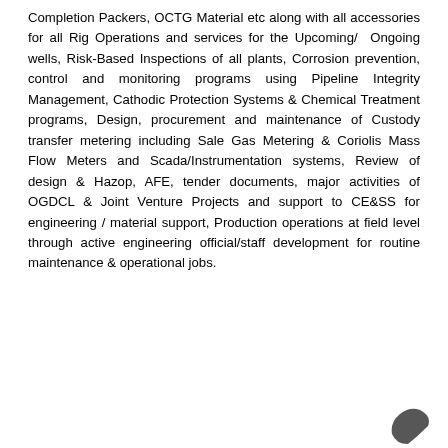Completion Packers, OCTG Material etc along with all accessories for all Rig Operations and services for the Upcoming/ Ongoing wells, Risk-Based Inspections of all plants, Corrosion prevention, control and monitoring programs using Pipeline Integrity Management, Cathodic Protection Systems & Chemical Treatment programs, Design, procurement and maintenance of Custody transfer metering including Sale Gas Metering & Coriolis Mass Flow Meters and Scada/Instrumentation systems, Review of design & Hazop, AFE, tender documents, major activities of OGDCL & Joint Venture Projects and support to CE&SS for engineering / material support, Production operations at field level through active engineering official/staff development for routine maintenance & operational jobs.
[Figure (logo): Partial logo visible at bottom right corner of the page]